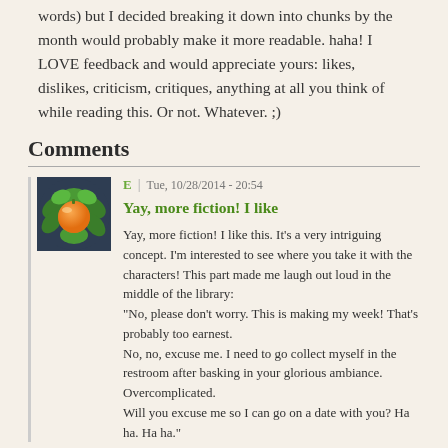words) but I decided breaking it down into chunks by the month would probably make it more readable. haha! I LOVE feedback and would appreciate yours: likes, dislikes, criticism, critiques, anything at all you think of while reading this. Or not. Whatever. ;)
Comments
[Figure (illustration): User avatar: circular illustration of an orange fruit with green leaves on a dark blue/grey background]
E | Tue, 10/28/2014 - 20:54
Yay, more fiction! I like
Yay, more fiction! I like this. It's a very intriguing concept. I'm interested to see where you take it with the characters! This part made me laugh out loud in the middle of the library:
"No, please don't worry. This is making my week! That's probably too earnest.
No, no, excuse me. I need to go collect myself in the restroom after basking in your glorious ambiance. Overcomplicated.
Will you excuse me so I can go on a date with you? Ha ha. Ha ha."